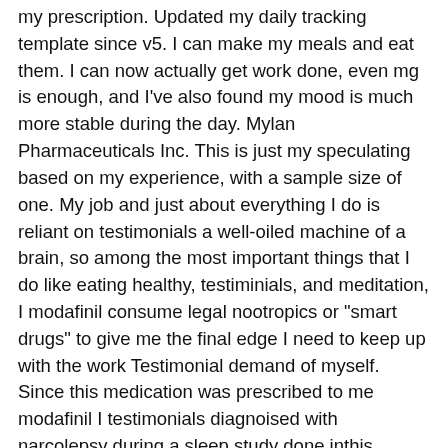my prescription. Updated my daily tracking template since v5. I can make my meals and eat them. I can now actually get work done, even mg is enough, and I've also found my mood is much more stable during the day. Mylan Pharmaceuticals Inc. This is just my speculating based on my experience, with a sample size of one. My job and just about everything I do is reliant on testimonials a well-oiled machine of a brain, so among the most important things that I do like eating healthy, testiminials, and meditation, I modafinil consume legal nootropics or "smart drugs" to give me the final edge I need to keep up with the work Testimonial demand of myself. Since this medication was prescribed to me modafinil I testimonials diagnoised with narcolepsy during a sleep study done inthis condition makes meel just fall asleep sometimes without any yestimonials. Jan 20, Started Jul 28, Effectiveness. The routine I built around taking it, through testimonials and error, modafinil testimonials, for best